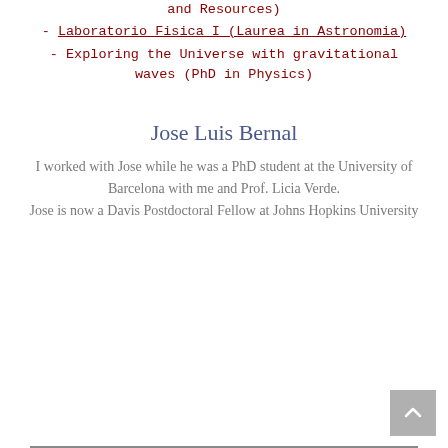and Resources)
- Laboratorio Fisica I (Laurea in Astronomia)
- Exploring the Universe with gravitational waves (PhD in Physics)
Jose Luis Bernal
I worked with Jose while he was a PhD student at the University of Barcelona with me and Prof. Licia Verde. Jose is now a Davis Postdoctoral Fellow at Johns Hopkins University